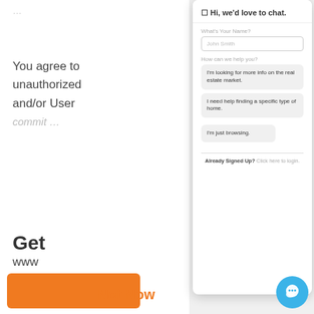You agree to unauthorized and/or User
Get www
[Figure (screenshot): Chat modal dialog with 'Hi, we'd love to chat.' header, name input field with placeholder 'John Smith', help topic selector with three options: 'I'm looking for more info on the real estate market.', 'I need help finding a specific type of home.', 'I'm just browsing.', and footer 'Already Signed Up? Click here to login.']
Not Now
[Figure (illustration): Blue circular chat bubble button in bottom right corner]